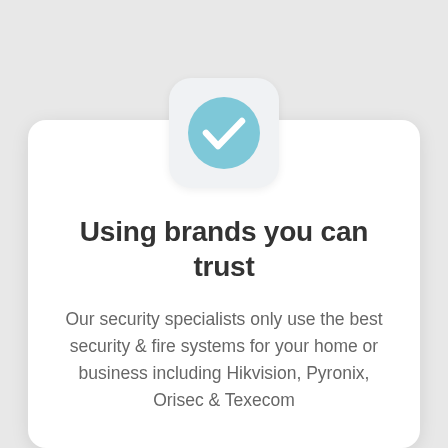[Figure (illustration): A rounded square icon with light gray background containing a blue circle with a white checkmark inside.]
Using brands you can trust
Our security specialists only use the best security & fire systems for your home or business including Hikvision, Pyronix, Orisec & Texecom